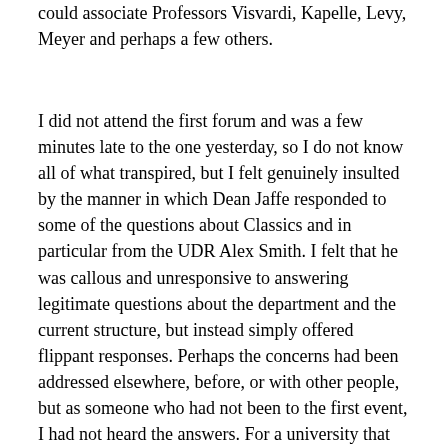could associate Professors Visvardi, Kapelle, Levy, Meyer and perhaps a few others.
I did not attend the first forum and was a few minutes late to the one yesterday, so I do not know all of what transpired, but I felt genuinely insulted by the manner in which Dean Jaffe responded to some of the questions about Classics and in particular from the UDR Alex Smith. I felt that he was callous and unresponsive to answering legitimate questions about the department and the current structure, but instead simply offered flippant responses. Perhaps the concerns had been addressed elsewhere, before, or with other people, but as someone who had not been to the first event, I had not heard the answers. For a university that claims such diversity and is proud of its progressive and active student body, I see